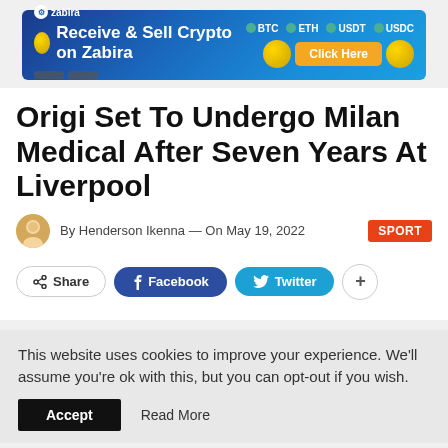[Figure (infographic): Zabira crypto exchange advertisement banner with coins and 'Receive & Sell Crypto on Zabira' tagline, with BTC ETH USDT USDC labels and a Click Here button]
Origi Set To Undergo Milan Medical After Seven Years At Liverpool
By Henderson Ikenna — On May 19, 2022  SPORT
Share  Facebook  Twitter  +
This website uses cookies to improve your experience. We'll assume you're ok with this, but you can opt-out if you wish.
Accept  Read More